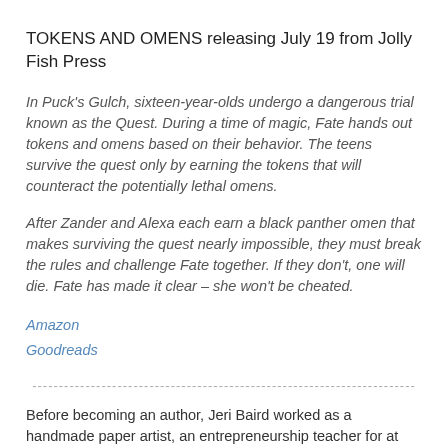TOKENS AND OMENS releasing July 19 from Jolly Fish Press
In Puck's Gulch, sixteen-year-olds undergo a dangerous trial known as the Quest. During a time of magic, Fate hands out tokens and omens based on their behavior. The teens survive the quest only by earning the tokens that will counteract the potentially lethal omens.
After Zander and Alexa each earn a black panther omen that makes surviving the quest nearly impossible, they must break the rules and challenge Fate together. If they don't, one will die. Fate has made it clear – she won't be cheated.
Amazon
Goodreads
------------------------------------------------------------------------
Before becoming an author, Jeri Baird worked as a handmade paper artist, an entrepreneurship teacher for at